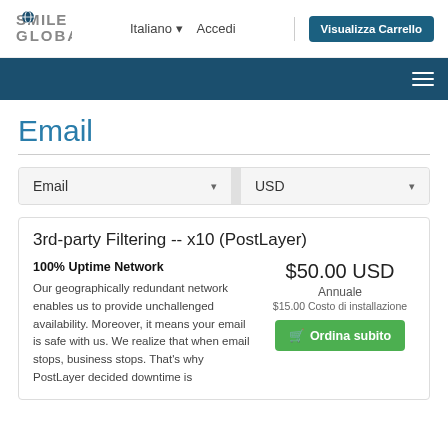Smile Global – Italiano | Accedi | Visualizza Carrello
Email
Email (dropdown) | USD (dropdown)
3rd-party Filtering -- x10 (PostLayer)
100% Uptime Network
Our geographically redundant network enables us to provide unchallenged availability. Moreover, it means your email is safe with us. We realize that when email stops, business stops. That's why PostLayer decided downtime is
$50.00 USD
Annuale
$15.00 Costo di installazione
Ordina subito